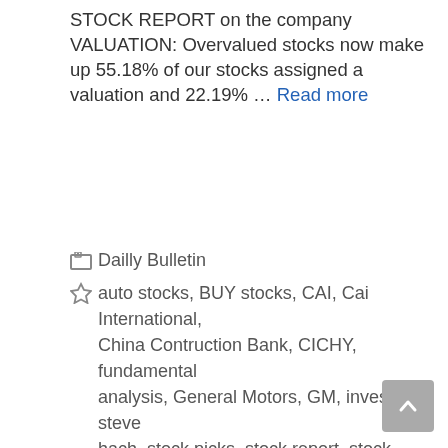STOCK REPORT on the company VALUATION: Overvalued stocks now make up 55.18% of our stocks assigned a valuation and 22.19% … Read more
Dailly Bulletin
auto stocks, BUY stocks, CAI, Cai International, China Contruction Bank, CICHY, fundamental analysis, General Motors, GM, investing, steve hach, stock picks, stock report, stock upgrades, Trimas Corp, TRS, valuation watchh, Yanzhou Coal, YZCAY
Leave a comment